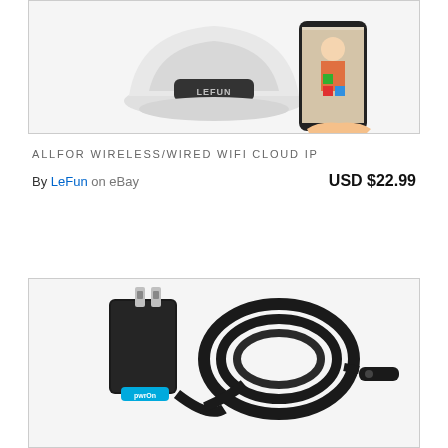[Figure (photo): A white LEFUN wireless WiFi IP camera device next to a hand holding a smartphone displaying a baby playing with colorful blocks.]
ALLFOR WIRELESS/WIRED WIFI CLOUD IP
By LeFun on eBay   USD $22.99
[Figure (photo): A black PwrOn power adapter/charger with US plug, coiled black cable, and a DC barrel connector tip.]